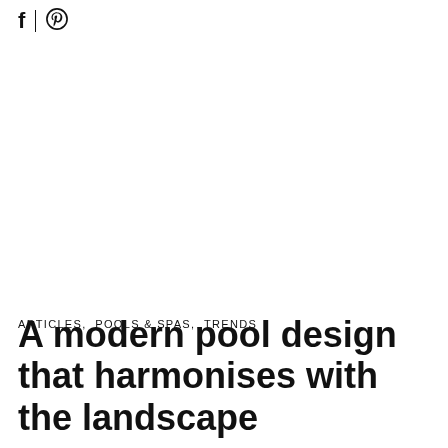f | (pinterest icon)
ARTICLES,  POOLS & SPAS,  TRENDS
A modern pool design that harmonises with the landscape